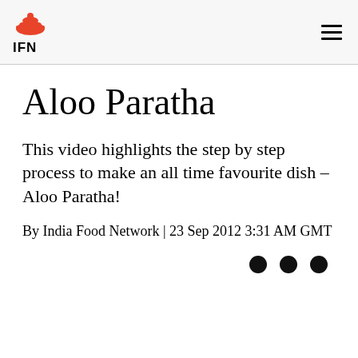IFN
Aloo Paratha
This video highlights the step by step process to make an all time favourite dish – Aloo Paratha!
By India Food Network | 23 Sep 2012 3:31 AM GMT
[Figure (other): Three black dots (decorative separator/pagination indicator) aligned to the right]